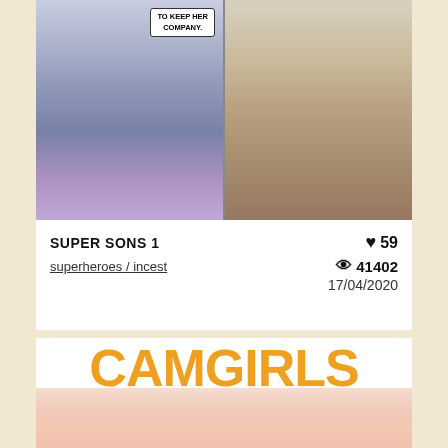[Figure (illustration): Comic book panels showing animated figures, left panel with purple bedding, right panel with figure in doorway. Speech bubble reads: TO KEEP HER COMPANY.]
SUPER SONS 1
♥ 59
superheroes / incest
👁 41402
17/04/2020
[Figure (photo): CAMGIRLS banner with photo of blonde woman, explicit adult content advertisement]